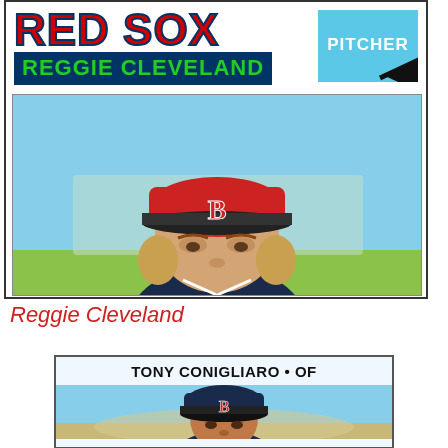[Figure (photo): 1977 Topps baseball card of Reggie Cleveland, Boston Red Sox pitcher. Card shows team name 'RED SOX' in red with navy outline, player name 'REGGIE CLEVELAND' in green on navy banner, 'PITCHER' badge in light blue. Photo shows player wearing red Red Sox cap with B logo, light blue sky background.]
Reggie Cleveland
[Figure (photo): Vintage baseball card showing Tony Conigliaro as OF (outfielder). Header reads 'TONY CONIGLIARO • OF'. Player wearing navy Blue Red Sox cap with B logo, outdoor background.]